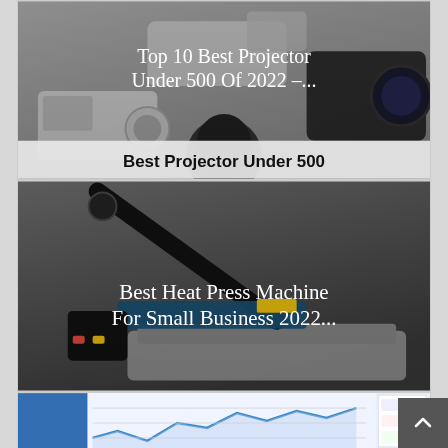[Figure (photo): Photo of multiple projectors on a gray background with text overlay 'Top 10 Best Projector Under 500 Of 2022 –...' in white serif font, and below that in bold dark text 'Best Projector Under 500']
[Figure (photo): Photo of a heat press machine (clam-shell style) on dark background with text overlay 'Best Heat Press Machine For Small Business 2022...' in white serif font]
[Figure (screenshot): Partial screenshot of a web page or dashboard showing a line chart / analytics interface with blue tones, partially visible]